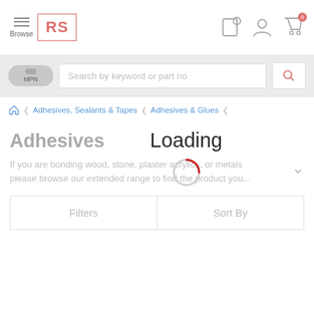[Figure (screenshot): RS Components website header with hamburger menu (Browse), RS logo, and icons for location/wishlist, account, and cart (showing 0 items)]
[Figure (screenshot): Search bar with MPN toggle and 'Search by keyword or part no' placeholder input with search icon button]
Adhesives, Sealants & Tapes > Adhesives & Glues
Adhesives
Loading
If you are bonding wood, stone, plaster acrylics, or metals please browse our extended range to find the product you...
Filters
Sort By